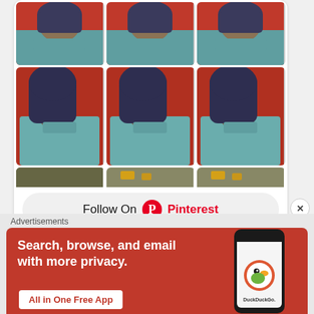[Figure (screenshot): Pinterest widget showing a 3x2 grid of painting thumbnails (portrait of a figure with dark curly hair against orange background), a partial third row of different paintings, and a 'Follow On Pinterest' button]
Advertisements
[Figure (screenshot): DuckDuckGo advertisement banner with orange background, text 'Search, browse, and email with more privacy. All in One Free App' and a phone mockup showing the DuckDuckGo app]